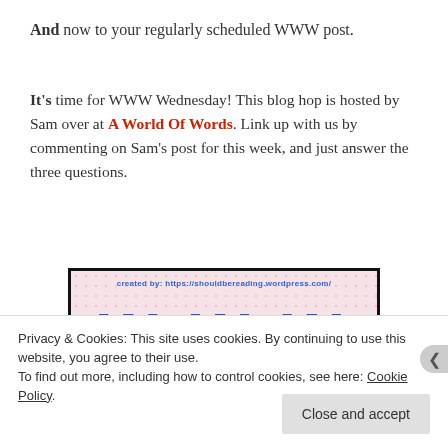And now to your regularly scheduled WWW post.
It's time for WWW Wednesday! This blog hop is hosted by Sam over at A World Of Words. Link up with us by commenting on Sam's post for this week, and just answer the three questions.
[Figure (illustration): WWW Wednesday blog hop image: dotted pink background with large blue WWW letters, a purple book with a 'w' on its cover, and a yellow bookmark. Created by: https://shouldbereading.wordpress.com/]
Privacy & Cookies: This site uses cookies. By continuing to use this website, you agree to their use.
To find out more, including how to control cookies, see here: Cookie Policy